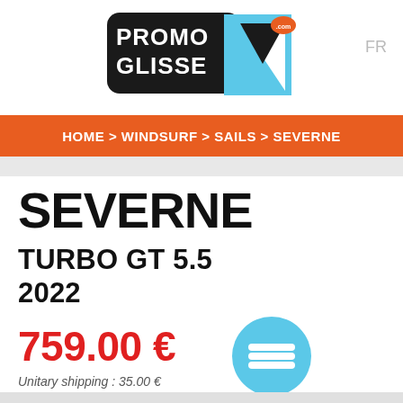PromoGlisse.com logo | FR
HOME > WINDSURF > SAILS > SEVERNE
SEVERNE
TURBO GT 5.5
2022
759.00 €
Unitary shipping : 35.00 €